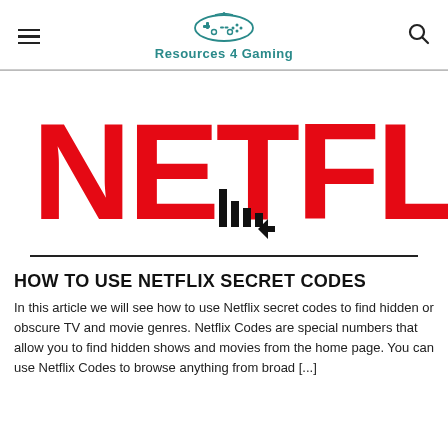Resources 4 Gaming
[Figure (screenshot): Netflix logo in large red letters on white background with a pixel-art cursor clicking on it]
HOW TO USE NETFLIX SECRET CODES
In this article we will see how to use Netflix secret codes to find hidden or obscure TV and movie genres. Netflix Codes are special numbers that allow you to find hidden shows and movies from the home page. You can use Netflix Codes to browse anything from broad [...]